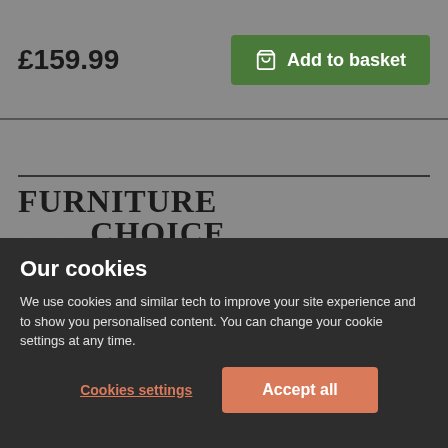£159.99
Add to basket
[Figure (logo): Furniture and Choice logo with 'Est. 2005' tagline]
Privacy policy | Cookie policy | Manage cookies | Terms and conditions | Sitemap
Our cookies
We use cookies and similar tech to improve your site experience and to show you personalised content. You can change your cookie settings at any time.
Cookies settings
Accept all